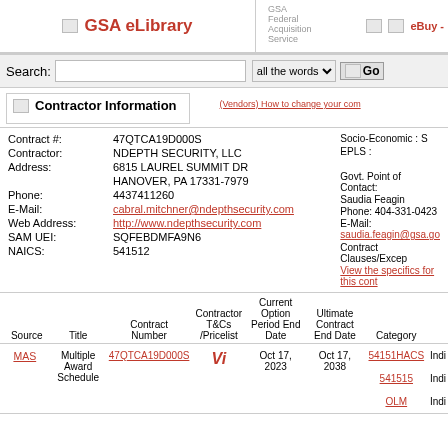GSA eLibrary | GSA Federal Acquisition Service | eBuy -
Search: [input] all the words [Go]
Contractor Information
(Vendors) How to change your com...
| Contract #: | Contractor: | Address: | Phone: | E-Mail: | Web Address: | SAM UEI: | NAICS: |
| --- | --- | --- | --- | --- | --- | --- | --- |
| 47QTCA19D000S |  |  |  |  |  |  |  |
| NDEPTH SECURITY, LLC |  |  |  |  |  |  |  |
| 6815 LAUREL SUMMIT DR |  |  |  |  |  |  |  |
| HANOVER, PA 17331-7979 |  |  |  |  |  |  |  |
| 4437411260 |  |  |  |  |  |  |  |
| cabral.mitchner@ndepthsecurity.com |  |  |  |  |  |  |  |
| http://www.ndepthsecurity.com |  |  |  |  |  |  |  |
| SQFEBDMFA9N6 |  |  |  |  |  |  |  |
| 541512 |  |  |  |  |  |  |  |
Socio-Economic : S
EPLS :
Govt. Point of Contact: Saudia Feagin
Phone: 404-331-0423
E-Mail: saudia.feagin@gsa.go...
Contract Clauses/Excep...
View the specifics for this cont...
| Source | Title | Contract Number | Contractor T&Cs /Pricelist | Current Option Period End Date | Ultimate Contract End Date | Category |  |
| --- | --- | --- | --- | --- | --- | --- | --- |
| MAS | Multiple Award Schedule | 47QTCA19D000S | Vi | Oct 17, 2023 | Oct 17, 2038 | 54151HACS | Indi |
|  |  |  |  |  |  | 541515 | Indi |
|  |  |  |  |  |  | OLM | Indi |